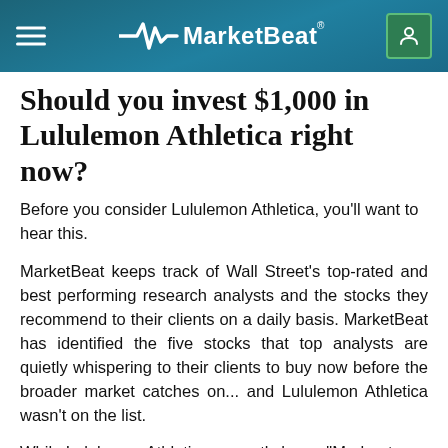MarketBeat
Should you invest $1,000 in Lululemon Athletica right now?
Before you consider Lululemon Athletica, you'll want to hear this.
MarketBeat keeps track of Wall Street's top-rated and best performing research analysts and the stocks they recommend to their clients on a daily basis. MarketBeat has identified the five stocks that top analysts are quietly whispering to their clients to buy now before the broader market catches on... and Lululemon Athletica wasn't on the list.
While Lululemon Athletica currently has a "Moderate Buy" rating among analysts, top-rated analysts belie…